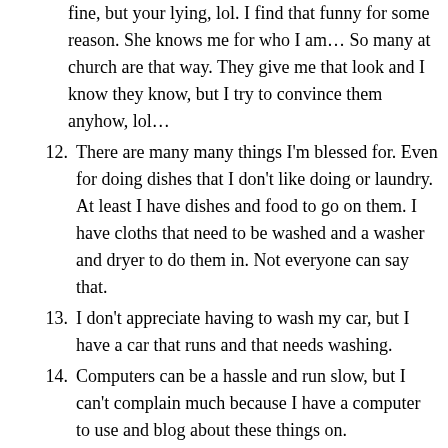(continuation) fine, but your lying, lol. I find that funny for some reason. She knows me for who I am… So many at church are that way. They give me that look and I know they know, but I try to convince them anyhow, lol…
12. There are many many things I'm blessed for. Even for doing dishes that I don't like doing or laundry. At least I have dishes and food to go on them. I have cloths that need to be washed and a washer and dryer to do them in. Not everyone can say that.
13. I don't appreciate having to wash my car, but I have a car that runs and that needs washing.
14. Computers can be a hassle and run slow, but I can't complain much because I have a computer to use and blog about these things on.
15. How can I leave out music. I love to listen to Casting Crowns, JJ Heller and most of the Christian singers and groups. I have heard many grumbles, myself included